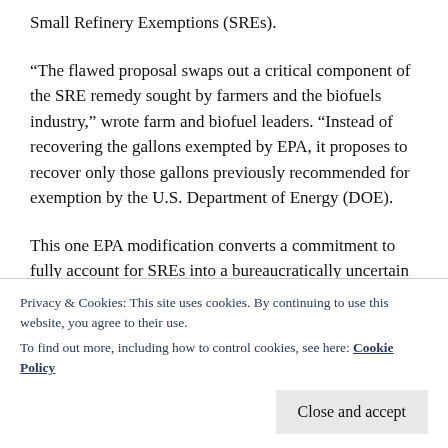Small Refinery Exemptions (SREs).
“The flawed proposal swaps out a critical component of the SRE remedy sought by farmers and the biofuels industry,” wrote farm and biofuel leaders. “Instead of recovering the gallons exempted by EPA, it proposes to recover only those gallons previously recommended for exemption by the U.S. Department of Energy (DOE).
This one EPA modification converts a commitment to fully account for SREs into a bureaucratically uncertain path that recovers only one fraction of those gallons lost
Privacy & Cookies: This site uses cookies. By continuing to use this website, you agree to their use.
To find out more, including how to control cookies, see here: Cookie Policy